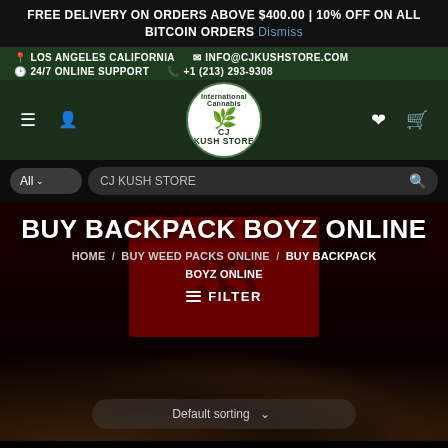FREE DELIVERY ON ORDERS ABOVE $400.00 | 10% OFF ON ALL BITCOIN ORDERS Dismiss
LOS ANGELES CALIFORNIA  INFO@CJKUSHSTORE.COM  24/7 ONLINE SUPPORT  +1 (213) 293-9308
[Figure (logo): CJ Kush Store circular logo with cannabis leaf graphic]
CJ KUSH STORE (search bar)
BUY BACKPACK BOYZ ONLINE
HOME / BUY WEED PACKS ONLINE / BUY BACKPACK BOYZ ONLINE
FILTER
Default sorting